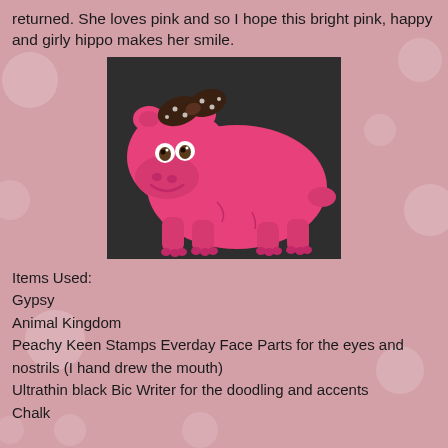returned. She loves pink and so I hope this bright pink, happy and girly hippo makes her smile.
[Figure (photo): A bright pink hippo craft cutout with a polka-dot bow on its head, placed on a dark background. The hippo has cute eyes and a smile.]
Items Used:
Gypsy
Animal Kingdom
Peachy Keen Stamps Everday Face Parts for the eyes and nostrils (I hand drew the mouth)
Ultrathin black Bic Writer for the doodling and accents
Chalk